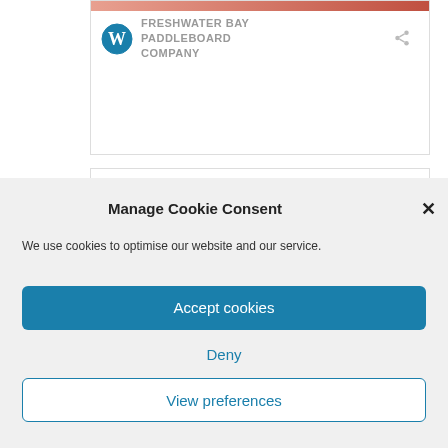[Figure (screenshot): Partial website card showing a WordPress logo and company name 'FRESHWATER BAY PADDLEBOARD COMPANY' with a share icon, on a white card with a border]
Manage Cookie Consent
We use cookies to optimise our website and our service.
Accept cookies
Deny
View preferences